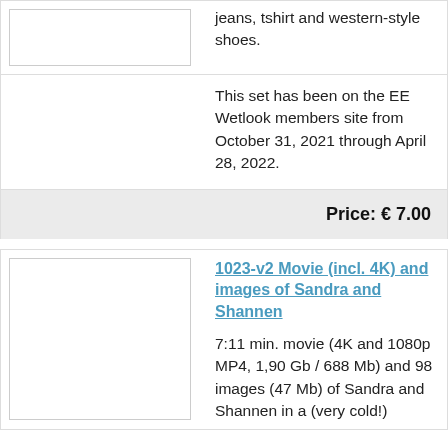jeans, tshirt and western-style shoes.
This set has been on the EE Wetlook members site from October 31, 2021 through April 28, 2022.
Price: € 7.00
1023-v2 Movie (incl. 4K) and images of Sandra and Shannen
7:11 min. movie (4K and 1080p MP4, 1,90 Gb / 688 Mb) and 98 images (47 Mb) of Sandra and Shannen in a (very cold!)